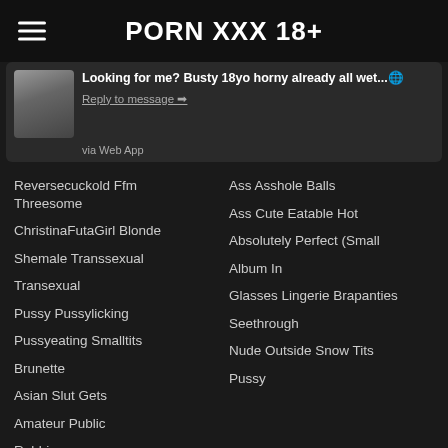PORN XXX 18+
Looking for me? Busty 18yo horny already all wet...🌐
Reply to message ➡
via Web App
Reversecuckold Ffm Threesome
ChristinaFutaGirl Blonde
Shemale Transsexual
Transexual
Pussy Pussylicking
Pussyeating Smalltits
Brunette
Asian Slut Gets
Amateur Public
Rubbingpussy
Amateur Blonde Undies Fit
Ass Asshole Balls
Ass Cute Eatable Hot
Absolutely Perfect (Small
Album In
Glasses Lingerie Brapanties
Seethrough
Nude Outside Snow Tits
Pussy